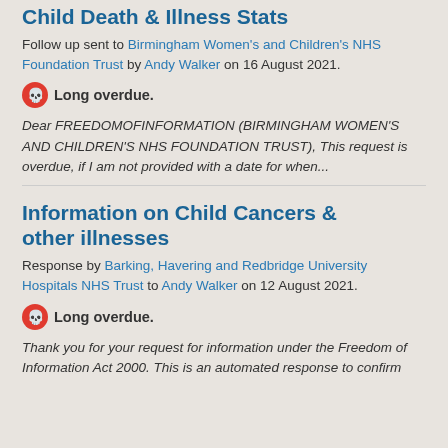Child Death & Illness Stats
Follow up sent to Birmingham Women's and Children's NHS Foundation Trust by Andy Walker on 16 August 2021.
Long overdue.
Dear FREEDOMOFINFORMATION (BIRMINGHAM WOMEN'S AND CHILDREN'S NHS FOUNDATION TRUST), This request is overdue, if I am not provided with a date for when...
Information on Child Cancers & other illnesses
Response by Barking, Havering and Redbridge University Hospitals NHS Trust to Andy Walker on 12 August 2021.
Long overdue.
Thank you for your request for information under the Freedom of Information Act 2000.  This is an automated response to confirm